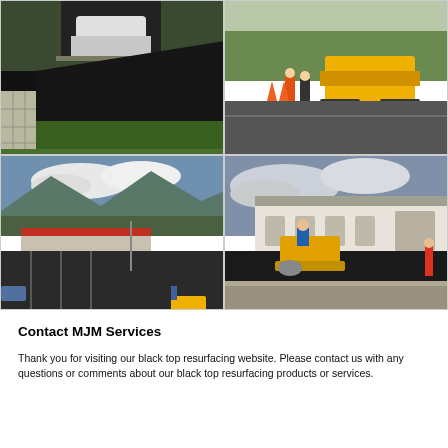[Figure (photo): Black asphalt driveway with stone border edging, close-up view]
[Figure (photo): Road paving crew with yellow paving machine and orange traffic cones on a road]
[Figure (photo): Aerial view of a paved parking lot with a red-roofed commercial building, mountains in background]
[Figure (photo): Yellow roller compactor paving asphalt in front of a white commercial building]
Contact MJM Services
Thank you for visiting our black top resurfacing website. Please contact us with any questions or comments about our black top resurfacing products or services.